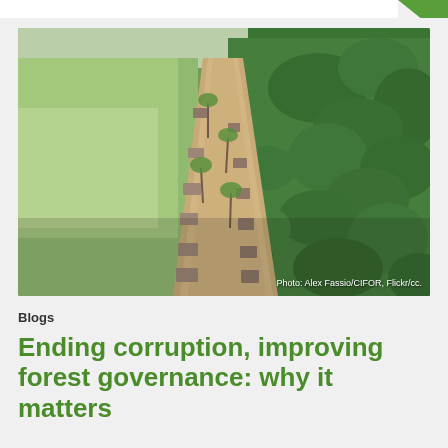[Figure (photo): Aerial photograph of a forest road or path in a tropical region, showing deforestation on the left side (cleared land) and dense forest on the right, with small structures/buildings along the road. Photo credit: Alex Fassio/CIFOR, Flickr/cc.]
Photo: Alex Fassio/CIFOR, Flickr/cc.
Blogs
Ending corruption, improving forest governance: why it matters